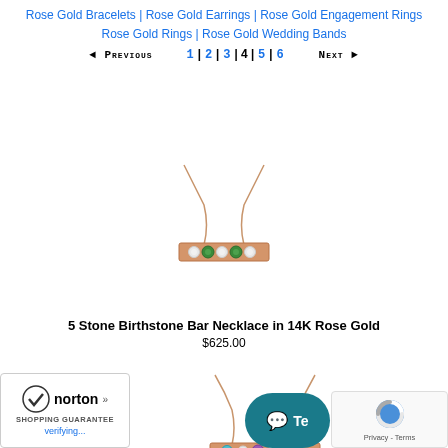Rose Gold Bracelets | Rose Gold Earrings | Rose Gold Engagement Rings
Rose Gold Rings | Rose Gold Wedding Bands
◄ Previous  1|2|3|4|5|6  Next ►
[Figure (photo): Rose gold bar necklace with 5 birthstones (white, green, white, green, white) on a chain]
5 Stone Birthstone Bar Necklace in 14K Rose Gold
$625.00
[Figure (photo): Rose gold bar necklace with colorful birthstones (blue, white, purple, white, blue) on a chain]
[Figure (logo): Norton Shopping Guarantee badge with checkmark, verifying...]
[Figure (other): Chat button (teal rounded rectangle) with speech bubble icon and 'Te' text]
[Figure (other): reCAPTCHA badge, Privacy - Terms]